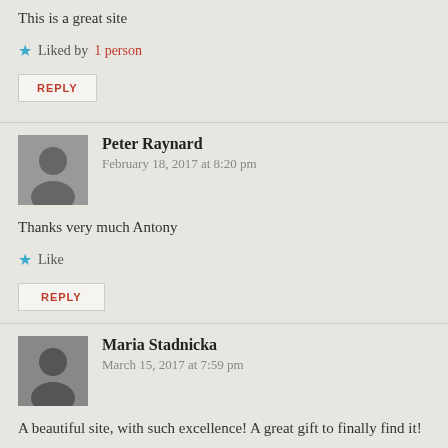This is a great site
Liked by 1 person
REPLY
Peter Raynard
February 18, 2017 at 8:20 pm
Thanks very much Antony
Like
REPLY
Maria Stadnicka
March 15, 2017 at 7:59 pm
A beautiful site, with such excellence! A great gift to finally find it!